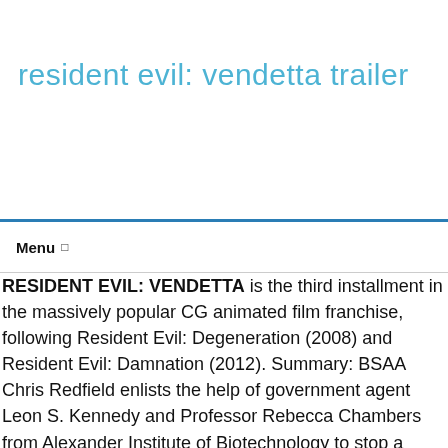resident evil: vendetta trailer
Menu
RESIDENT EVIL: VENDETTA is the third installment in the massively popular CG animated film franchise, following Resident Evil: Degeneration (2008) and Resident Evil: Damnation (2012). Summary: BSAA Chris Redfield enlists the help of government agent Leon S. Kennedy and Professor Rebecca Chambers from Alexander Institute of Biotechnology to stop a death merchant with a vengeance from spreading a